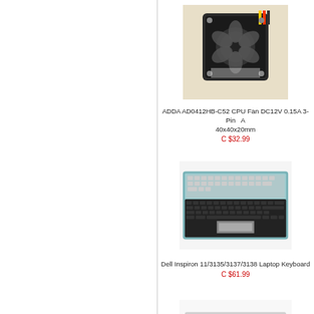[Figure (photo): Photo of ADDA AD0412HB-C52 CPU fan, small black square fan with connector wires]
ADDA AD0412HB-C52 CPU Fan DC12V 0.15A 3-Pin 40x40x20mm
C $32.99
[Figure (photo): Photo of Dell Inspiron 11/3135/3137/3138 laptop keyboard, black keys on teal/grey base]
Dell Inspiron 11/3135/3137/3138 Laptop Keyboard
C $61.99
[Figure (photo): Photo of A+ LG LP156WHB-TPA2 laptop LCD screen panel, thin white/silver bezel]
A+ LG LP156WHB-TPA2 Laptop Screen for Dell Inspiron 15
C $117.99